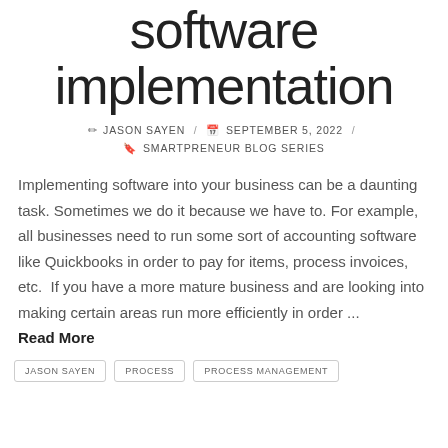software implementation
✏ JASON SAYEN / 📅 SEPTEMBER 5, 2022 / 🔖 SMARTPRENEUR BLOG SERIES
Implementing software into your business can be a daunting task. Sometimes we do it because we have to. For example, all businesses need to run some sort of accounting software like Quickbooks in order to pay for items, process invoices, etc.  If you have a more mature business and are looking into making certain areas run more efficiently in order ...
Read More
JASON SAYEN
PROCESS
PROCESS MANAGEMENT